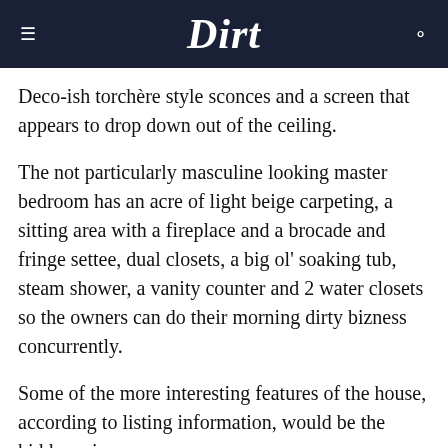Dirt
Deco-ish torchère style sconces and a screen that appears to drop down out of the ceiling.
The not particularly masculine looking master bedroom has an acre of light beige carpeting, a sitting area with a fireplace and a brocade and fringe settee, dual closets, a big ol' soaking tub, steam shower, a vanity counter and 2 water closets so the owners can do their morning dirty bizness concurrently.
Some of the more interesting features of the house, according to listing information, would be the hidden wine